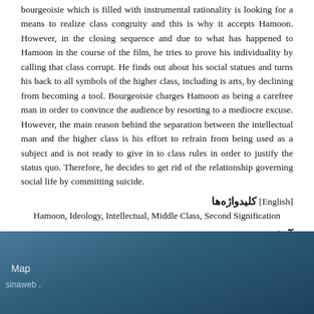bourgeoisie which is filled with instrumental rationality is looking for a means to realize class congruity and this is why it accepts Hamoon. However, in the closing sequence and due to what has happened to Hamoon in the course of the film, he tries to prove his individuality by calling that class corrupt. He finds out about his social statues and turns his back to all symbols of the higher class, including is arts, by declining from becoming a tool. Bourgeoisie charges Hamoon as being a carefree man in order to convince the audience by resorting to a mediocre excuse. However, the main reason behind the separation between the intellectual man and the higher class is his effort to refrain from being used as a subject and is not ready to give in to class rules in order to justify the status quo. Therefore, he decides to get rid of the relationship governing social life by committing suicide.
کلیدواژه‌ها [English]
Hamoon, Ideology, Intellectual, Middle Class, Second Signification
آمار
تعداد مشاهده مقاله: 2,872
تعداد دریافت فایل اصل مقاله: 3,532
Map
sinaweb .